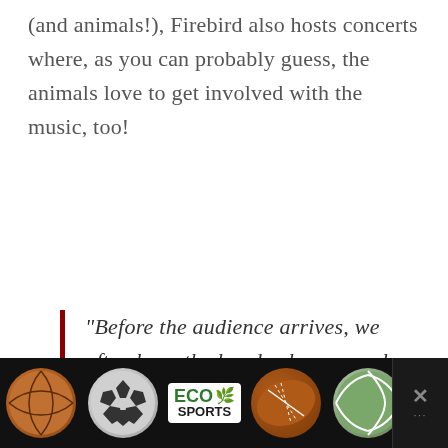(and animals!), Firebird also hosts concerts where, as you can probably guess, the animals love to get involved with the music, too!
“Before the audience arrives, we often have the bands play a couple quiet songs for the animal-friends in sanctuary. Many of them really dig the singing especially, they feel
[Figure (other): Advertisement bar at bottom of page showing sports balls (basketball, soccer ball, football, volleyball) and ECO SPORTS logo on black background]